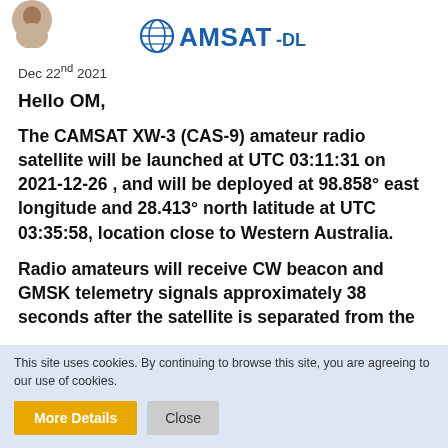[Figure (logo): AMSAT-DL logo with globe icon and bold text AMSAT-DL in blue]
Dec 22nd 2021
Hello OM,
The CAMSAT XW-3 (CAS-9) amateur radio satellite will be launched at UTC 03:11:31 on 2021-12-26 , and will be deployed at 98.858° east longitude and 28.413° north latitude at UTC 03:35:58, location close to Western Australia.
Radio amateurs will receive CW beacon and GMSK telemetry signals approximately 38 seconds after the satellite is separated from the launch vehicle, and
This site uses cookies. By continuing to browse this site, you are agreeing to our use of cookies.
More Details
Close